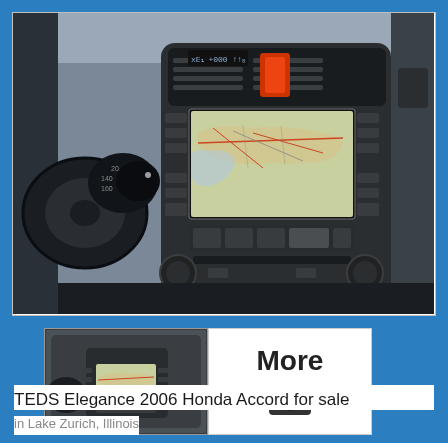[Figure (photo): Car interior showing Honda Accord dashboard with navigation screen displaying a map of the United States, center console with buttons and controls, and steering wheel visible on left]
[Figure (photo): Thumbnail of the same Honda Accord interior dashboard/navigation system]
[Figure (other): More photos button with camera icon]
TEDS Elegance 2006 Honda Accord for sale
in Lake Zurich, Illinois